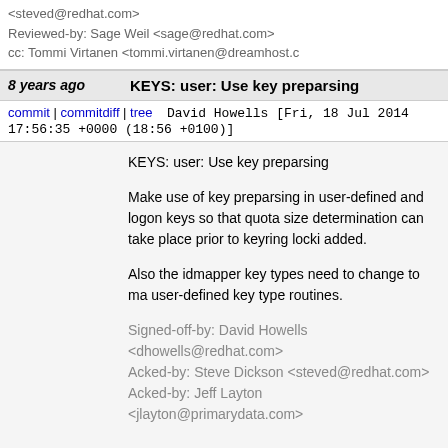<steved@redhat.com>
Reviewed-by: Sage Weil <sage@redhat.com>
cc: Tommi Virtanen <tommi.virtanen@dreamhost.com>
8 years ago   KEYS: user: Use key preparsing
commit | commitdiff | tree   David Howells [Fri, 18 Jul 2014 17:56:35 +0000 (18:56 +0100)]
KEYS: user: Use key preparsing

Make use of key preparsing in user-defined and logon keys so that quota size determination can take place prior to keyring locking added.

Also the idmapper key types need to change to match the user-defined key type routines.

Signed-off-by: David Howells <dhowells@redhat.com>
Acked-by: Steve Dickson <steved@redhat.com>
Acked-by: Jeff Layton <jlayton@primarydata.com>
8 years ago   KEYS: Call ->free_preparse() even after ->preparse() returns an error
commit | commitdiff | tree   David Howells [Fri, 18 Jul 2014